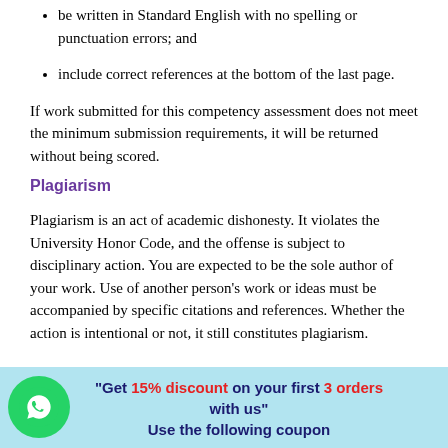be written in Standard English with no spelling or punctuation errors; and
include correct references at the bottom of the last page.
If work submitted for this competency assessment does not meet the minimum submission requirements, it will be returned without being scored.
Plagiarism
Plagiarism is an act of academic dishonesty. It violates the University Honor Code, and the offense is subject to disciplinary action. You are expected to be the sole author of your work. Use of another person’s work or ideas must be accompanied by specific citations and references. Whether the action is intentional or not, it still constitutes plagiarism.
"Get 15% discount on your first 3 orders with us" Use the following coupon